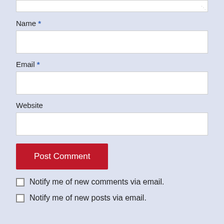[Figure (screenshot): Textarea input field (top, partially cropped)]
Name *
[Figure (screenshot): Name text input field]
Email *
[Figure (screenshot): Email text input field]
Website
[Figure (screenshot): Website text input field]
[Figure (screenshot): Post Comment button (red)]
Notify me of new comments via email.
Notify me of new posts via email.